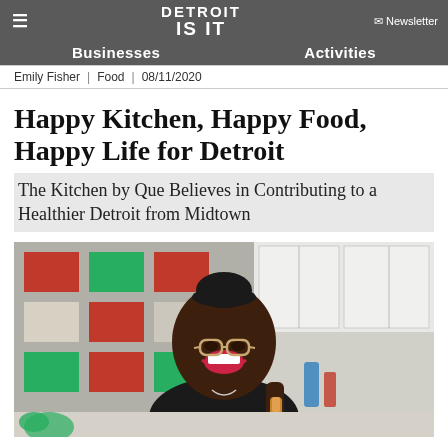DETROIT IS IT — Businesses | Activities | Newsletter
Emily Fisher | Food | 08/11/2020
Happy Kitchen, Happy Food, Happy Life for Detroit
The Kitchen by Que Believes in Contributing to a Healthier Detroit from Midtown
[Figure (photo): A smiling Black woman with glasses and hair up, wearing a black top and necklace, standing in a colorful kitchen with red and green tile accents and white cabinetry, holding what appears to be a food item or brush.]